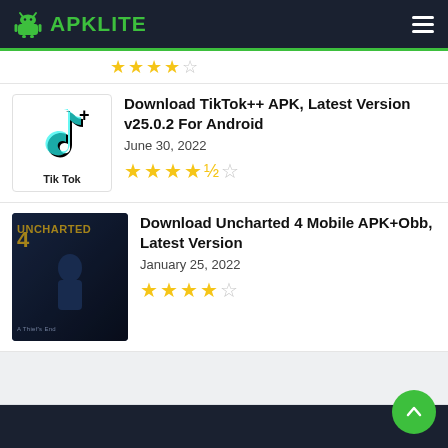APKLITE
[Figure (logo): APKLITE logo with green Android robot icon and green text APKLITE on dark background, with hamburger menu icon on the right]
★★★★☆ (partial stars from previous item)
Download TikTok++ APK, Latest Version v25.0.2 For Android
June 30, 2022
★★★★☆
Download Uncharted 4 Mobile APK+Obb, Latest Version
January 25, 2022
★★★★☆
GB Whatsapp
GB Instagram